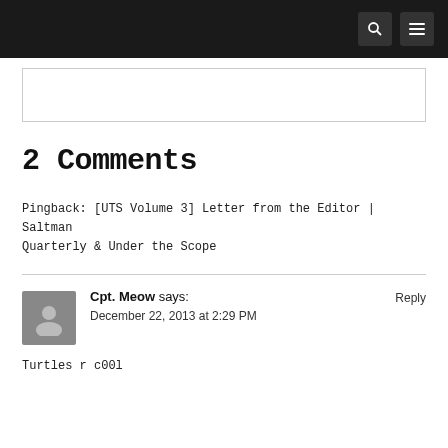Navigation bar with search and menu icons
2 Comments
Pingback: [UTS Volume 3] Letter from the Editor | Saltman Quarterly & Under the Scope
Cpt. Meow says:
December 22, 2013 at 2:29 PM
Reply
Turtles r c00l